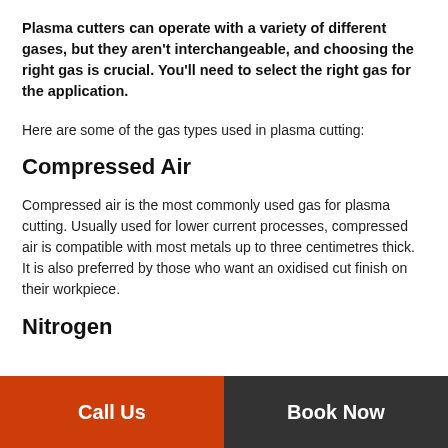Plasma cutters can operate with a variety of different gases, but they aren't interchangeable, and choosing the right gas is crucial. You'll need to select the right gas for the application.
Here are some of the gas types used in plasma cutting:
Compressed Air
Compressed air is the most commonly used gas for plasma cutting. Usually used for lower current processes, compressed air is compatible with most metals up to three centimetres thick. It is also preferred by those who want an oxidised cut finish on their workpiece.
Nitrogen
Call Us | Book Now